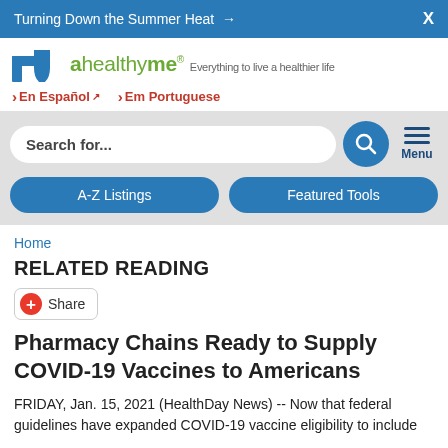Turning Down the Summer Heat →   X
[Figure (logo): Blue Cross Blue Shield plus ahealthyme logo with tagline 'Everything to live a healthier life']
› En Español  › Em Portuguese
Search for...
A-Z Listings   Featured Tools
Home
RELATED READING
Share
Pharmacy Chains Ready to Supply COVID-19 Vaccines to Americans
FRIDAY, Jan. 15, 2021 (HealthDay News) -- Now that federal guidelines have expanded COVID-19 vaccine eligibility to include